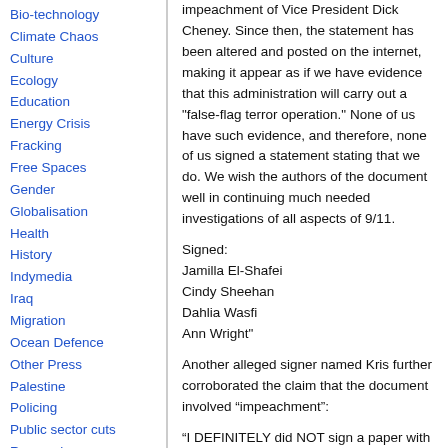Bio-technology
Climate Chaos
Culture
Ecology
Education
Energy Crisis
Fracking
Free Spaces
Gender
Globalisation
Health
History
Indymedia
Iraq
Migration
Ocean Defence
Other Press
Palestine
Policing
Public sector cuts
Repression
Social Struggles
Technology
Terror War
impeachment of Vice President Dick Cheney. Since then, the statement has been altered and posted on the internet, making it appear as if we have evidence that this administration will carry out a "false-flag terror operation." None of us have such evidence, and therefore, none of us signed a statement stating that we do. We wish the authors of the document well in continuing much needed investigations of all aspects of 9/11.
Signed:
Jamilla El-Shafei
Cindy Sheehan
Dahlia Wasfi
Ann Wright"
Another alleged signer named Kris further corroborated the claim that the document involved “impeachment”:
“I DEFINITELY did NOT sign a paper with the Kennebunk Warning physically on it. My memory is of signing a piece of paper that simply